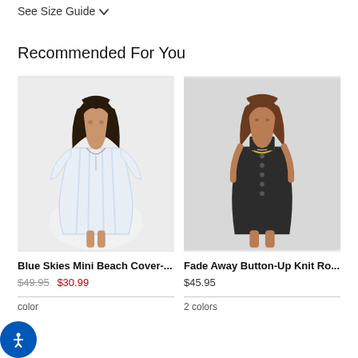See Size Guide ∨
Recommended For You
[Figure (photo): Model wearing Blue Skies Mini Beach Cover-Up, a white and light blue striped loose cover-up dress with lace-up neckline]
Blue Skies Mini Beach Cover-...
$49.95  $30.99
color
[Figure (photo): Model wearing Fade Away Button-Up Knit Romper, a dark charcoal sleeveless mini romper with button-up front]
Fade Away Button-Up Knit Ro...
$45.95
2 colors